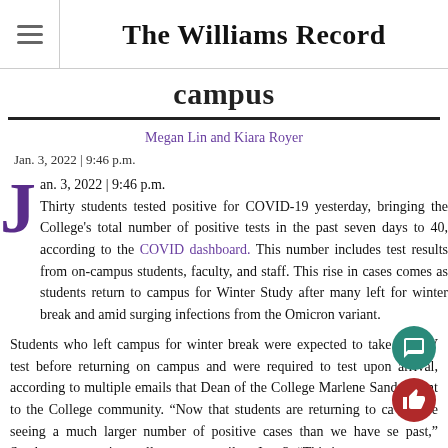The Williams Record
campus
Megan Lin and Kiara Royer
Jan. 3, 2022 | 9:46 p.m.
Thirty students tested positive for COVID-19 yesterday, bringing the College's total number of positive tests in the past seven days to 40, according to the COVID dashboard. This number includes test results from on-campus students, faculty, and staff. This rise in cases comes as students return to campus for Winter Study after many left for winter break and amid surging infections from the Omicron variant.
Students who left campus for winter break were expected to take a COV test before returning on campus and were required to test upon arrival, according to multiple emails that Dean of the College Marlene Sandstrom sent to the College community. “Now that students are returning to campus we are seeing a much larger number of positive cases than we have seen in the past,” Sandstrom wrote in an all-campus email on Jan. 3. “This is not